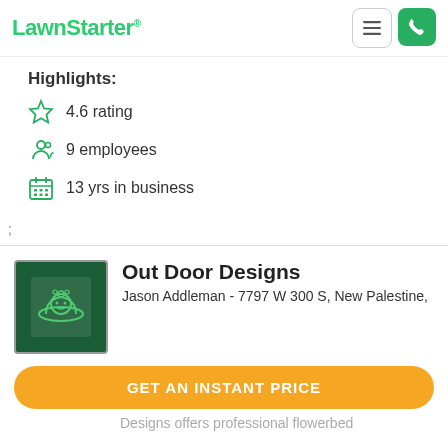LawnStarter
Highlights:
4.6 rating
9 employees
13 yrs in business
;
Out Door Designs
Jason Addleman - 7797 W 300 S, New Palestine,
Designs offers professional flowerbed
GET AN INSTANT PRICE